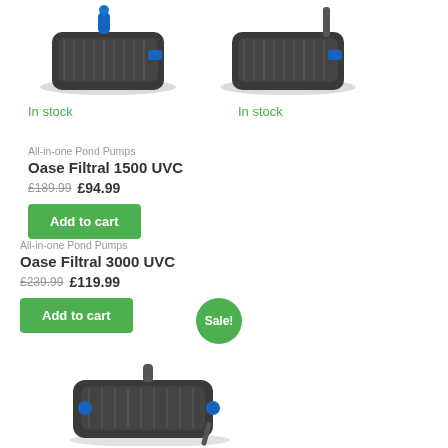[Figure (photo): Oase Filtral 1500 UVC pond pump product photo, top-left]
[Figure (photo): Oase Filtral 3000 UVC pond pump product photo, top-right]
In stock
In stock
All-in-one Pond Pumps
Oase Filtral 1500 UVC
£189.99 £94.99
All-in-one Pond Pumps
Oase Filtral 3000 UVC
£239.99 £119.99
Sale!
[Figure (photo): Oase Filtral pond pump product photo, bottom-left, partially visible]